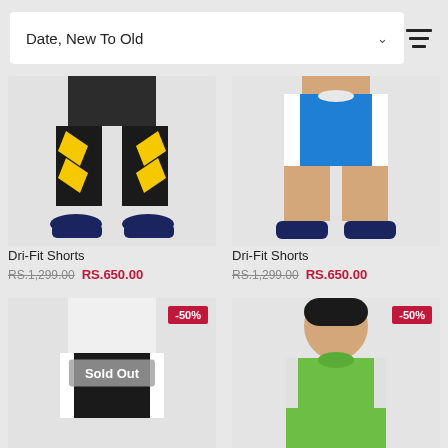Date, New To Old
[Figure (photo): Man wearing black and yellow Dri-Fit Shorts with navy shoes, cropped from waist down]
[Figure (photo): Man wearing blue and white Dri-Fit Shorts with navy shoes, cropped from waist down]
Dri-Fit Shorts RS.1,299.00 RS.650.00
Dri-Fit Shorts RS.1,299.00 RS.650.00
[Figure (photo): Man wearing white and black Dri-Fit Shorts, with -50% badge and Sold Out overlay]
[Figure (photo): Man wearing green t-shirt, with -50% badge, cropped from head down]